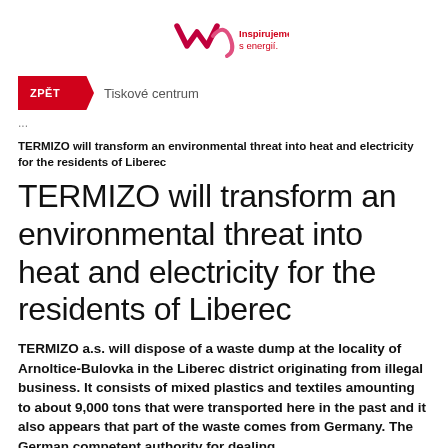[Figure (logo): MVV energy logo with stylized M shape in red/pink and text 'Inspirujeme s energií.' in red]
ZPÉT   Tiskové centrum
...
TERMIZO will transform an environmental threat into heat and electricity for the residents of Liberec
TERMIZO will transform an environmental threat into heat and electricity for the residents of Liberec
TERMIZO a.s. will dispose of a waste dump at the locality of Arnoltice-Bulovka in the Liberec district originating from illegal business. It consists of mixed plastics and textiles amounting to about 9,000 tons that were transported here in the past and it also appears that part of the waste comes from Germany. The German competent authority for dealing